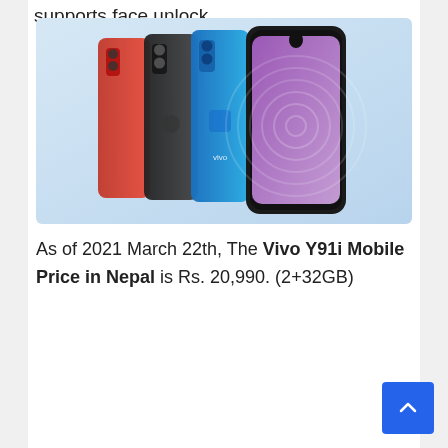supports face unlock.
[Figure (photo): Vivo Y91i smartphones shown in multiple colors (red, black, blue) — three phones showing the back and one showing the front with a teardrop notch display, displayed on a light blue gradient background.]
As of 2021 March 22th, The Vivo Y91i Mobile Price in Nepal is Rs. 20,990. (2+32GB)